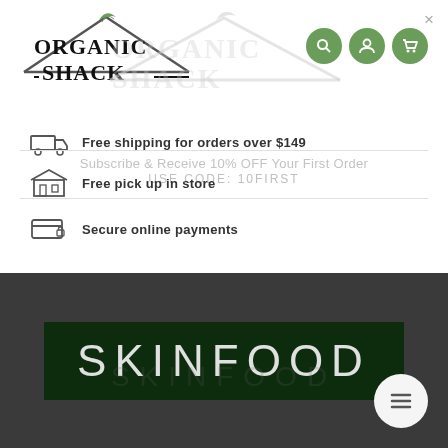[Figure (logo): Organic Shack logo with roof/house outline and green leaf, black serif text ORGANIC SHACK]
×
[Figure (infographic): Three green circle icon buttons: search (magnifying glass), account (person), cart (shopping cart)]
Subscribe & Receive 10% OFF Your First Order USE CODE: 10FIRST
Free shipping for orders over $149
Free pick up in store
Secure online payments
SKINFOOD
[Figure (other): Hamburger menu button (three horizontal lines) on white circle, bottom right corner]